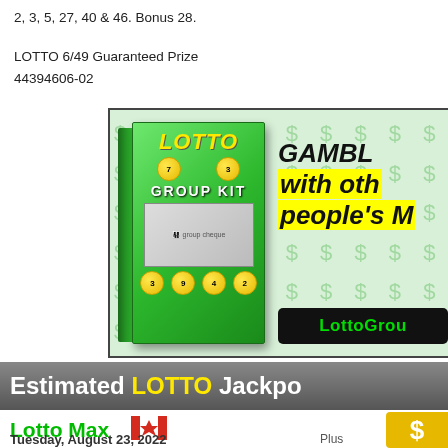2, 3, 5, 27, 40 & 46. Bonus 28.
LOTTO 6/49 Guaranteed Prize
44394606-02
[Figure (infographic): Advertisement for Lotto Group Kit book showing a green book cover with lottery balls, people holding a cheque, text 'GAMBL with other people's M' in italic bold, yellow highlighted text, and a green LottoGrou button on black background with dollar sign pattern.]
Estimated LOTTO Jackpo
Lotto Max
Tuesday, August 23, 2022
[Figure (logo): Canadian maple leaf flag icon]
$